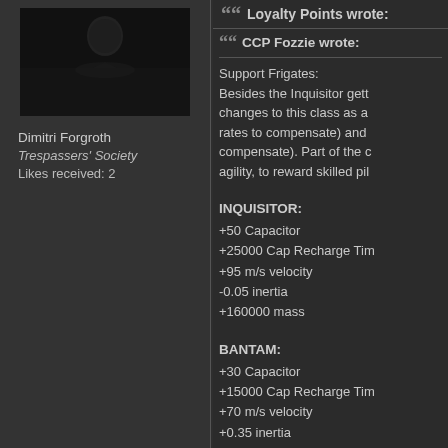[Figure (photo): Dark avatar/profile photo showing a figure in dark attire against a dark background]
Dimitri Forgroth
Trespassers' Society
Likes received: 2
Loyalty Points wrote:
CCP Fozzie wrote:
Support Frigates:
Besides the Inquisitor gett... changes to this class as a... rates to compensate) and... compensate). Part of the c... agility, to reward skilled pil...
INQUISITOR:
+50 Capacitor
+25000 Cap Recharge Tim...
+95 m/s velocity
-0.05 inertia
+160000 mass
BANTAM:
+30 Capacitor
+15000 Cap Recharge Tim...
+70 m/s velocity
+0.35 inertia
NAVITAS: